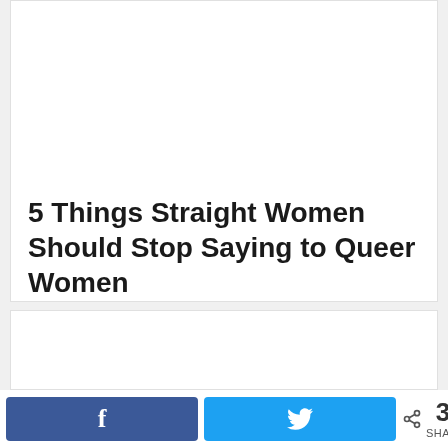[Figure (other): White card area with blank image placeholder at top]
5 Things Straight Women Should Stop Saying to Queer Women
[Figure (other): Second white card area with blank image placeholder]
f (Facebook share button)
(Twitter share button)
38 SHARES